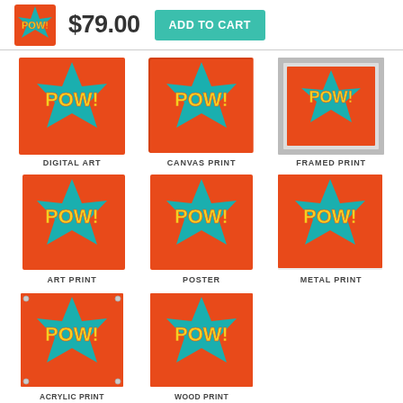[Figure (screenshot): Product thumbnail image showing POW! comic art square]
$79.00
ADD TO CART
[Figure (illustration): Digital Art POW! comic style image]
DIGITAL ART
[Figure (illustration): Canvas Print POW! comic style image]
CANVAS PRINT
[Figure (illustration): Framed Print POW! comic style image]
FRAMED PRINT
[Figure (illustration): Art Print POW! comic style image]
ART PRINT
[Figure (illustration): Poster POW! comic style image]
POSTER
[Figure (illustration): Metal Print POW! comic style image]
METAL PRINT
[Figure (illustration): Acrylic Print POW! comic style image]
[Figure (illustration): Wood Print POW! comic style image]
ACRYLIC PRINT
WOOD PRINT